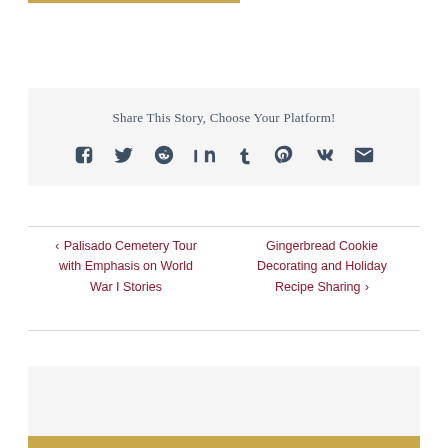Share This Story, Choose Your Platform!
[Figure (infographic): Social sharing icons: Facebook, Twitter, Reddit, LinkedIn, Tumblr, Pinterest, VK, Email]
‹ Palisado Cemetery Tour with Emphasis on World War I Stories
Gingerbread Cookie Decorating and Holiday Recipe Sharing ›